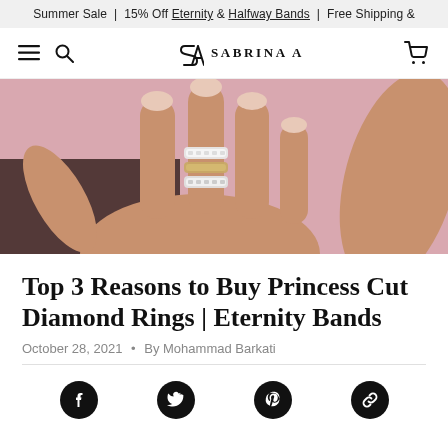Summer Sale | 15% Off Eternity & Halfway Bands | Free Shipping &
[Figure (logo): Sabrina A brand logo with SA monogram and navigation icons (hamburger menu, search, cart)]
[Figure (photo): A hand raised with multiple diamond eternity band rings stacked on the ring finger, against a pink background]
Top 3 Reasons to Buy Princess Cut Diamond Rings | Eternity Bands
October 28, 2021 • By Mohammad Barkati
[Figure (infographic): Social sharing icons row: Facebook, Twitter, Pinterest, Link/chain icon]